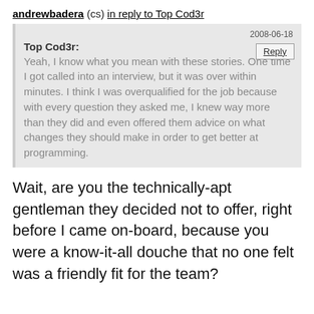andrewbadera (cs) in reply to Top Cod3r
2008-06-18
Top Cod3r:
Yeah, I know what you mean with these stories. One time I got called into an interview, but it was over within minutes. I think I was overqualified for the job because with every question they asked me, I knew way more than they did and even offered them advice on what changes they should make in order to get better at programming.
Wait, are you the technically-apt gentleman they decided not to offer, right before I came on-board, because you were a know-it-all douche that no one felt was a friendly fit for the team?